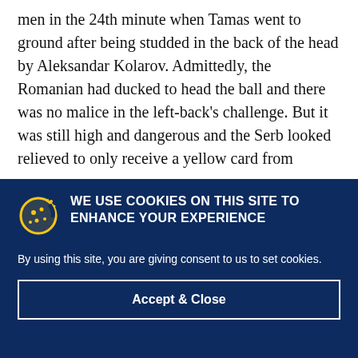men in the 24th minute when Tamas went to ground after being studded in the back of the head by Aleksandar Kolarov. Admittedly, the Romanian had ducked to head the ball and there was no malice in the left-back's challenge. But it was still high and dangerous and the Serb looked relieved to only receive a yellow card from
WE USE COOKIES ON THIS SITE TO ENHANCE YOUR EXPERIENCE

By using this site, you are giving consent to us to set cookies.

[Accept & Close]